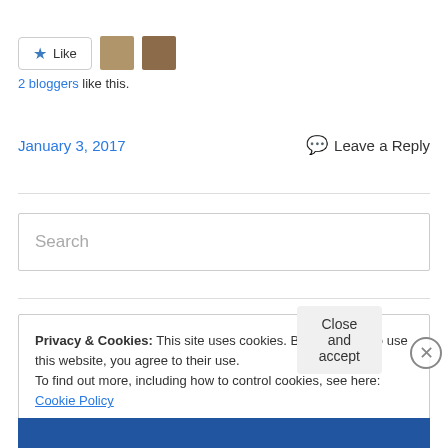[Figure (other): Like button with star icon and two blogger avatar thumbnails]
2 bloggers like this.
January 3, 2017   Leave a Reply
Search
Privacy & Cookies: This site uses cookies. By continuing to use this website, you agree to their use.
To find out more, including how to control cookies, see here: Cookie Policy
Close and accept